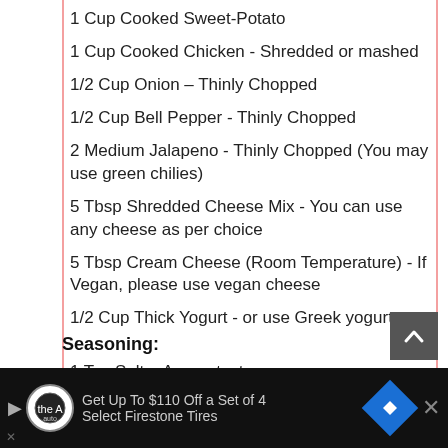1 Cup Cooked Sweet-Potato
1 Cup Cooked Chicken - Shredded or mashed
1/2 Cup Onion – Thinly Chopped
1/2 Cup Bell Pepper - Thinly Chopped
2 Medium Jalapeno - Thinly Chopped (You may use green chilies)
5 Tbsp Shredded Cheese Mix - You can use any cheese as per choice
5 Tbsp Cream Cheese (Room Temperature) - If Vegan, please use vegan cheese
1/2 Cup Thick Yogurt - or use Greek yogurt
Seasoning:
1 Tsp Salt – As per taste